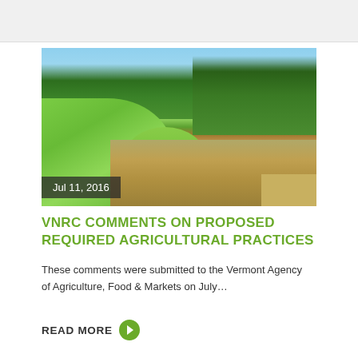[Figure (photo): Photograph of a river or stream scene with lush green vegetation and bushes on the banks, brownish water, and blue sky with trees in the background. Date overlay reads 'Jul 11, 2016'.]
VNRC COMMENTS ON PROPOSED REQUIRED AGRICULTURAL PRACTICES
These comments were submitted to the Vermont Agency of Agriculture, Food & Markets on July…
READ MORE →